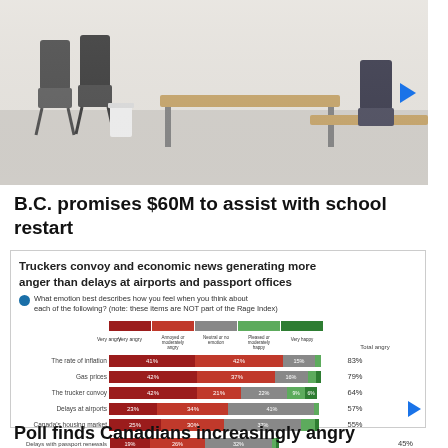[Figure (photo): Photo of classroom chairs and tables in a bright room]
B.C. promises $60M to assist with school restart
[Figure (stacked-bar-chart): Truckers convoy and economic news generating more anger than delays at airports and passport offices]
Poll finds Canadians increasingly angry